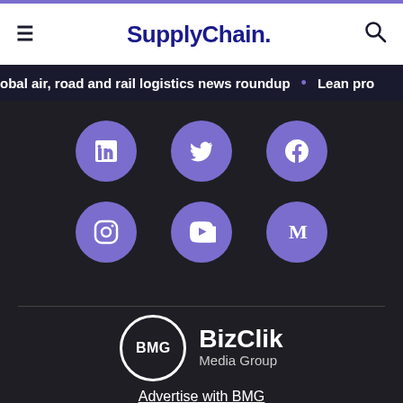SupplyChain.
obal air, road and rail logistics news roundup  •  Lean pro
[Figure (infographic): Six purple circular social media icons arranged in two rows of three: LinkedIn, Twitter, Facebook (top row); Instagram, YouTube, Medium (bottom row)]
[Figure (logo): BizClik Media Group logo: white circle with BMG text inside, followed by BizClik in bold white and Media Group in lighter text]
Advertise with BMG
User Agreement